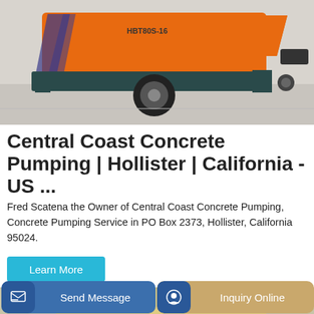[Figure (photo): Orange concrete pump machine (HBT80S-16) with blue stripes and dark green frame, on a light gray concrete surface. Large black tire visible in center.]
Central Coast Concrete Pumping | Hollister | California - US ...
Fred Scatena the Owner of Central Coast Concrete Pumping, Concrete Pumping Service in PO Box 2373, Hollister, California 95024.
[Figure (photo): Partial photo of yellow equipment, partially visible at the bottom of the page.]
Send Message
Inquiry Online